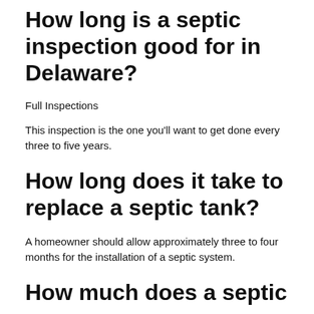How long is a septic inspection good for in Delaware?
Full Inspections
This inspection is the one you'll want to get done every three to five years.
How long does it take to replace a septic tank?
A homeowner should allow approximately three to four months for the installation of a septic system.
How much does a septic